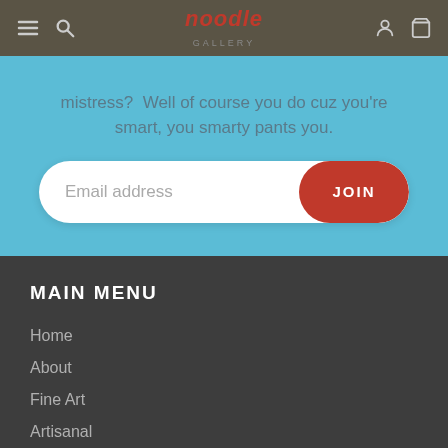noodle GALLERY - navigation header with hamburger, search, user, and cart icons
mistress? Well of course you do cuz you're smart, you smarty pants you.
[Figure (other): Email signup form with white pill-shaped input labeled 'Email address' and a red JOIN button]
MAIN MENU
Home
About
Fine Art
Artisanal
Furnishings